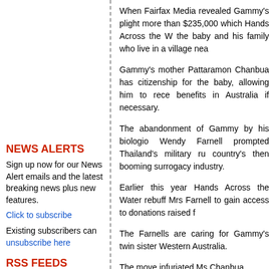When Fairfax Media revealed Gammy's plight more than $235,000 which Hands Across the W the baby and his family who live in a village nea
Gammy's mother Pattaramon Chanbua has citizenship for the baby, allowing him to rece benefits in Australia if necessary.
The abandonment of Gammy by his biologio Wendy Farnell prompted Thailand's military ru country's then booming surrogacy industry.
Earlier this year Hands Across the Water rebuff Mrs Farnell to gain access to donations raised f
The Farnells are caring for Gammy's twin sister Western Australia.
The move infuriated Ms Chanbua.
"He does not deserve or have any rights to the Gammy in the first place," she said, refe convicted child sex offender.
NEWS ALERTS
Sign up now for our News Alert emails and the latest breaking news plus new features.
Click to subscribe
Existing subscribers can unsubscribe here
RSS FEEDS
Top Stories
Tourism
Property
Jobs